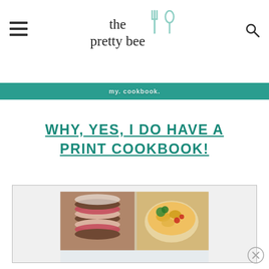the pretty bee
[Figure (screenshot): Teal banner with partially visible URL text]
WHY, YES, I DO HAVE A PRINT COOKBOOK!
[Figure (photo): Cookbook cover showing two photos: chocolate sandwich cookies with red and white filling on left, and pasta with broccoli and tomatoes in a bowl on right]